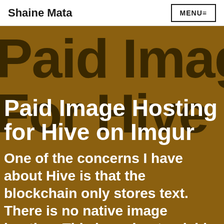Shaine Mata | MENU
Paid Image Hosting for Hive on Imgur
One of the concerns I have about Hive is that the blockchain only stores text. There is no native image hosting. This is understandable as images can be quite l…